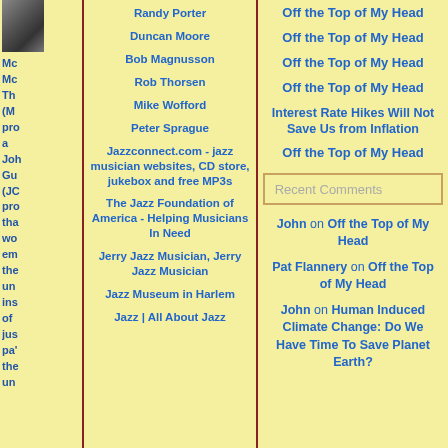[Figure (photo): Small portrait photo, partially cropped]
Mo Mo Th (M pro a Joh Gu (JC pro tha wo em the un ins of jus pa' the un
Randy Porter
Duncan Moore
Bob Magnusson
Rob Thorsen
Mike Wofford
Peter Sprague
Jazzconnect.com - jazz musician websites, CD store, jukebox and free MP3s
The Jazz Foundation of America - Helping Musicians In Need
Jerry Jazz Musician, Jerry Jazz Musician
Jazz Museum in Harlem
Jazz | All About Jazz
Off the Top of My Head
Off the Top of My Head
Off the Top of My Head
Off the Top of My Head
Interest Rate Hikes Will Not Save Us from Inflation
Off the Top of My Head
Recent Comments
John on Off the Top of My Head
Pat Flannery on Off the Top of My Head
John on Human Induced Climate Change: Do We Have Time To Save Planet Earth?